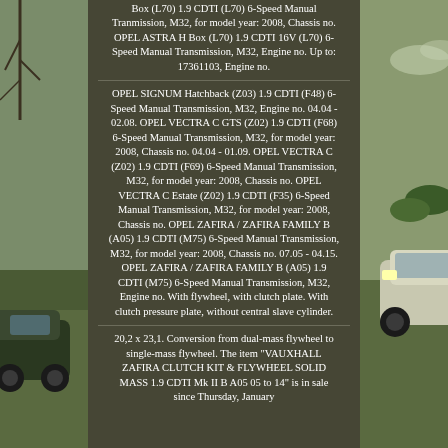Box (L70) 1.9 CDTI (L70) 6-Speed Manual Tranmission, M32, for model year: 2008, Chassis no. OPEL ASTRA H Box (L70) 1.9 CDTI 16V (L70) 6-Speed Manual Transmission, M32, Engine no. Up to: 17361103, Engine no.
OPEL SIGNUM Hatchback (Z03) 1.9 CDTI (F48) 6-Speed Manual Transmission, M32, Engine no. 04.04 - 02.08. OPEL VECTRA C GTS (Z02) 1.9 CDTI (F68) 6-Speed Manual Transmission, M32, for model year: 2008, Chassis no. 04.04 - 01.09. OPEL VECTRA C (Z02) 1.9 CDTI (F69) 6-Speed Manual Transmission, M32, for model year: 2008, Chassis no. OPEL VECTRA C Estate (Z02) 1.9 CDTI (F35) 6-Speed Manual Transmission, M32, for model year: 2008, Chassis no. OPEL ZAFIRA / ZAFIRA FAMILY B (A05) 1.9 CDTI (M75) 6-Speed Manual Transmission, M32, for model year: 2008, Chassis no. 07.05 - 04.15. OPEL ZAFIRA / ZAFIRA FAMILY B (A05) 1.9 CDTI (M75) 6-Speed Manual Transmission, M32, Engine no. With flywheel, with clutch plate. With clutch pressure plate, without central slave cylinder.
20,2 x 23,1. Conversion from dual-mass flywheel to single-mass flywheel. The item "VAUXHALL ZAFIRA CLUTCH KIT & FLYWHEEL SOLID MASS 1.9 CDTI Mk II B A05 05 to 14" is in sale since Thursday, January